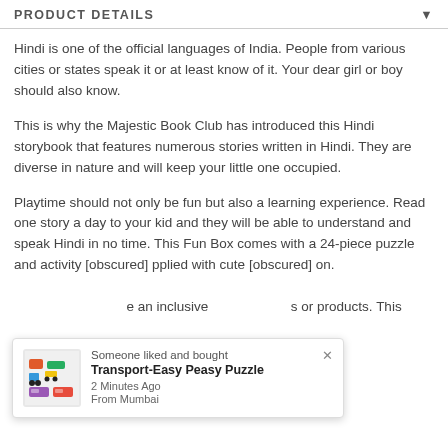PRODUCT DETAILS
Hindi is one of the official languages of India. People from various cities or states speak it or at least know of it. Your dear girl or boy should also know.
This is why the Majestic Book Club has introduced this Hindi storybook that features numerous stories written in Hindi. They are diverse in nature and will keep your little one occupied.
Playtime should not only be fun but also a learning experience. Read one story a day to your kid and they will be able to understand and speak Hindi in no time. This Fun Box comes with a 24-piece puzzle and activity [partially obscured] pplied with cute [partially obscured] on.
[partially obscured] e an inclusive [partially obscured] s or products. This
[Figure (other): Notification popup: Someone liked and bought Transport-Easy Peasy Puzzle, 2 Minutes Ago, From Mumbai, with a product image thumbnail and close button.]